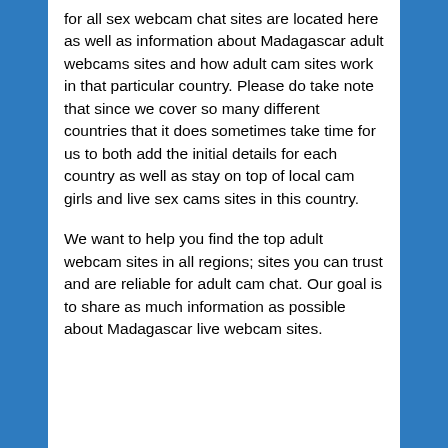for all sex webcam chat sites are located here as well as information about Madagascar adult webcams sites and how adult cam sites work in that particular country. Please do take note that since we cover so many different countries that it does sometimes take time for us to both add the initial details for each country as well as stay on top of local cam girls and live sex cams sites in this country.
We want to help you find the top adult webcam sites in all regions; sites you can trust and are reliable for adult cam chat. Our goal is to share as much information as possible about Madagascar live webcam sites.